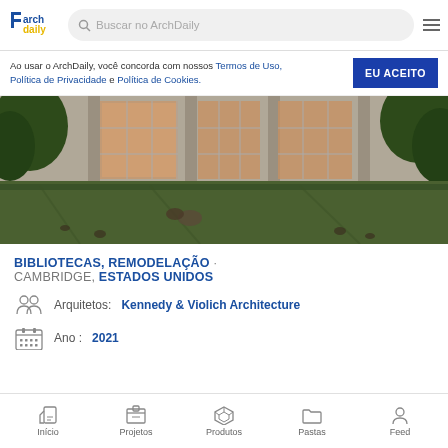ArchDaily - Buscar no ArchDaily
Ao usar o ArchDaily, você concorda com nossos Termos de Uso, Política de Privacidade e Política de Cookies. EU ACEITO
[Figure (photo): Exterior photo of a library building with large glass windows, concrete columns, green lawn in foreground with geese, trees on sides]
BIBLIOTECAS, REMODELAÇÃO · CAMBRIDGE, ESTADOS UNIDOS
Arquitetos: Kennedy & Violich Architecture
Ano: 2021
Início  Projetos  Produtos  Pastas  Feed